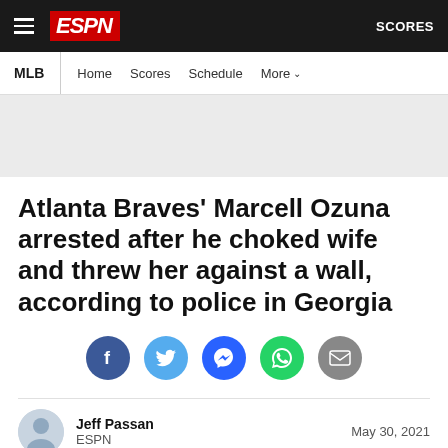ESPN — SCORES — MLB Home Scores Schedule More
[Figure (other): Advertisement banner placeholder (gray area)]
Atlanta Braves' Marcell Ozuna arrested after he choked wife and threw her against a wall, according to police in Georgia
[Figure (infographic): Social sharing icons row: Facebook, Twitter, Messenger, WhatsApp, Email]
Jeff Passan
ESPN
May 30, 2021